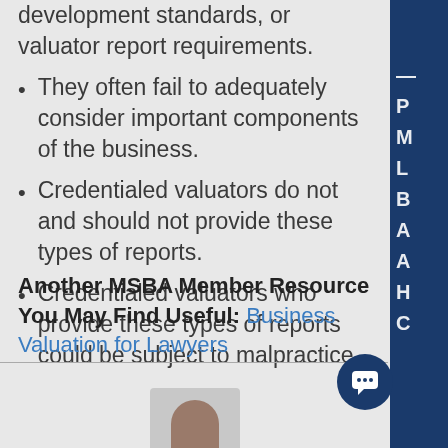development standards, or valuator report requirements.
They often fail to adequately consider important components of the business.
Credentialed valuators do not and should not provide these types of reports.
Credentialed valuators who provide these types of reports could be subject to malpractice.
Another MSBA Member Resource You May Find Useful: Business Valuation for Lawyers